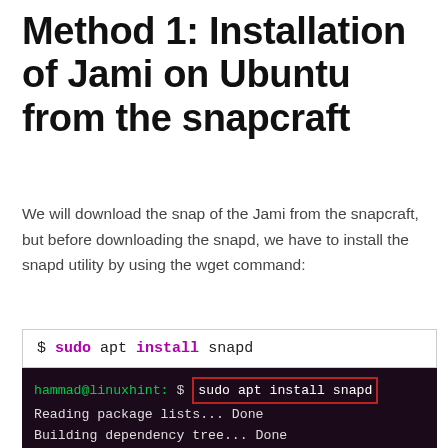Method 1: Installation of Jami on Ubuntu from the snapcraft
We will download the snap of the Jami from the snapcraft, but before downloading the snapd, we have to install the snapd utility by using the wget command:
[Figure (screenshot): Code block showing: $ sudo apt install snapd]
[Figure (screenshot): Terminal window showing: hammad@linuxhint: $ sudo apt install snapd (with red border highlight), Reading package lists... Done, Building dependency tree... Done, Reading state information... Done]
We will install the snap of Jami using the command:
[Figure (screenshot): Code block showing: $ sudo snap install jami]
[Figure (screenshot): Terminal showing: hammad@linuxhint: $ sudo snap install jami, jami 20220331.1409.87fc96d from Savoir-faire Linux (sfljami) installed, hammad@linuxhint: $]